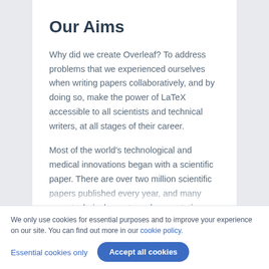Our Aims
Why did we create Overleaf? To address problems that we experienced ourselves when writing papers collaboratively, and by doing so, make the power of LaTeX accessible to all scientists and technical writers, at all stages of their career.
Most of the world's technological and medical innovations began with a scientific paper. There are over two million scientific papers published every year, and many more technical reports and presentations. Scientists in academia and industry...
We only use cookies for essential purposes and to improve your experience on our site. You can find out more in our cookie policy.
Essential cookies only   Accept all cookies